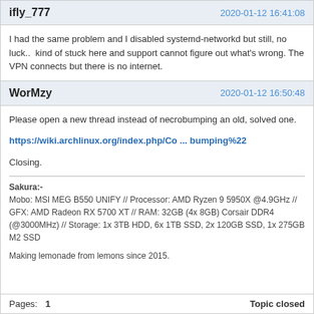ifly_777 — 2020-01-12 16:41:08
I had the same problem and I disabled systemd-networkd but still, no luck..  kind of stuck here and support cannot figure out what's wrong. The VPN connects but there is no internet.
WorMzy — 2020-01-12 16:50:48
Please open a new thread instead of necrobumping an old, solved one.
https://wiki.archlinux.org/index.php/Co ... bumping%22
Closing.
Sakura:-
Mobo: MSI MEG B550 UNIFY // Processor: AMD Ryzen 9 5950X @4.9GHz // GFX: AMD Radeon RX 5700 XT // RAM: 32GB (4x 8GB) Corsair DDR4 (@3000MHz) // Storage: 1x 3TB HDD, 6x 1TB SSD, 2x 120GB SSD, 1x 275GB M2 SSD

Making lemonade from lemons since 2015.
Pages:  1    Topic closed